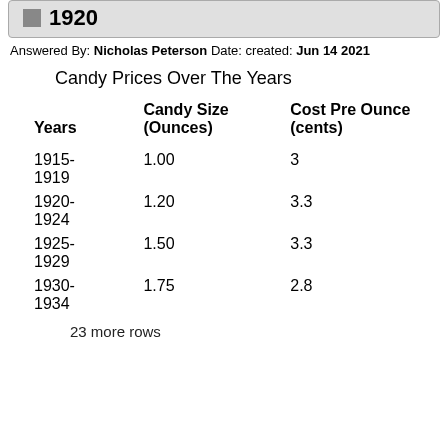1920
Answered By: Nicholas Peterson Date: created: Jun 14 2021
Candy Prices Over The Years
| Years | Candy Size (Ounces) | Cost Pre Ounce (cents) |
| --- | --- | --- |
| 1915-1919 | 1.00 | 3 |
| 1920-1924 | 1.20 | 3.3 |
| 1925-1929 | 1.50 | 3.3 |
| 1930-1934 | 1.75 | 2.8 |
23 more rows